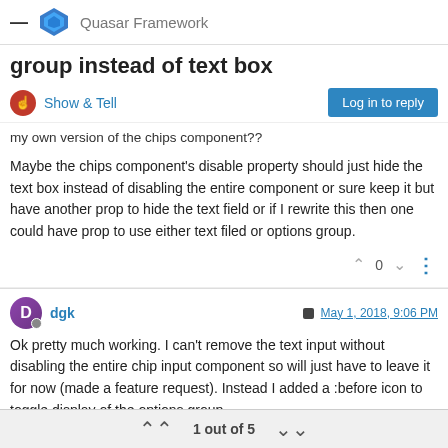Quasar Framework
group instead of text box
Show & Tell
Log in to reply
my own version of the chips component??
Maybe the chips component's disable property should just hide the text box instead of disabling the entire component or sure keep it but have another prop to hide the text field or if I rewrite this then one could have prop to use either text filed or options group.
0
dgk
May 1, 2018, 9:06 PM
Ok pretty much working. I can't remove the text input without disabling the entire chip input component so will just have to leave it for now (made a feature request). Instead I added a :before icon to toggle display of the options group.
1 out of 5